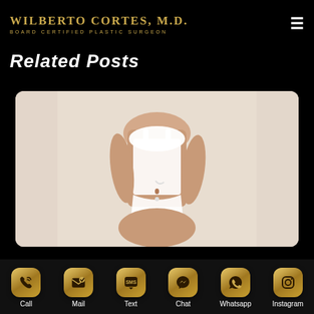Wilberto Cortes, M.D. Board Certified Plastic Surgeon
Related Posts
[Figure (photo): Woman in white tank top and white underwear posing against light background, medical/plastic surgery related post image]
12th Sep 2020
Call | Mail | Text | Chat | Whatsapp | Instagram